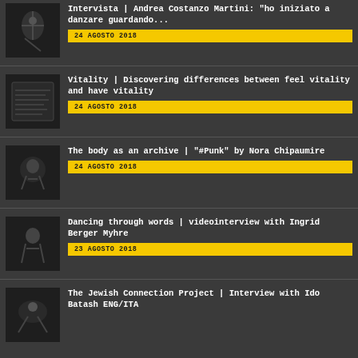Intervista | Andrea Costanzo Martini: "ho iniziato a danzare guardando..."
24 AGOSTO 2018
Vitality | Discovering differences between feel vitality and have vitality
24 AGOSTO 2018
The body as an archive | "#Punk" by Nora Chipaumire
24 AGOSTO 2018
Dancing through words | videointerview with Ingrid Berger Myhre
23 AGOSTO 2018
The Jewish Connection Project | Interview with Ido Batash ENG/ITA